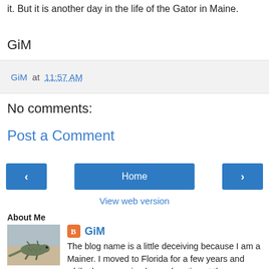it. But it is another day in the life of the Gator in Maine.
GiM
GiM at 11:57 AM
No comments:
Post a Comment
Home
View web version
About Me
[Figure (photo): Photo of a lizard or reptile on sandy ground]
GiM
The blog name is a little deceiving because I am a Mainer. I moved to Florida for a few years and while there, received my education at the University of Florida. Thus I'm a